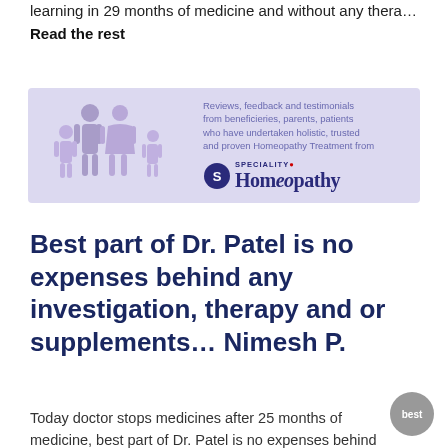learning in 29 months of medicine and without any thera… Read the rest
[Figure (illustration): Speciality Homeopathy banner with family silhouette figures (man, woman, two children) in purple on a light purple/lavender background. Text reads: 'Reviews, feedback and testimonials from beneficieries, parents, patients who have undertaken holistic, trusted and proven Homeopathy Treatment from' followed by the Speciality Homeopathy logo.]
Best part of Dr. Patel is no expenses behind any investigation, therapy and or supplements… Nimesh P.
Today doctor stops medicines after 25 months of medicine, best part of Dr. Patel is no expenses behind any investigation,